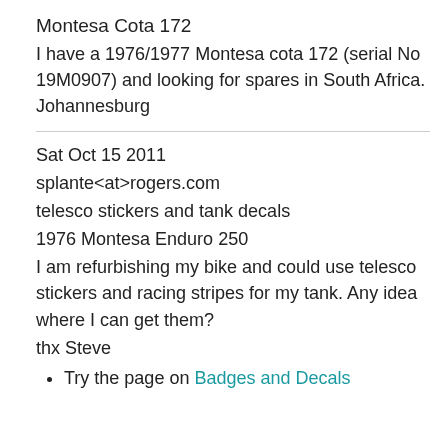Montesa Cota 172
I have a 1976/1977 Montesa cota 172 (serial No 19M0907) and looking for spares in South Africa.
Johannesburg
Sat Oct 15 2011
splante<at>rogers.com
telesco stickers and tank decals
1976 Montesa Enduro 250
I am refurbishing my bike and could use telesco stickers and racing stripes for my tank. Any idea where I can get them?
thx Steve
Try the page on Badges and Decals